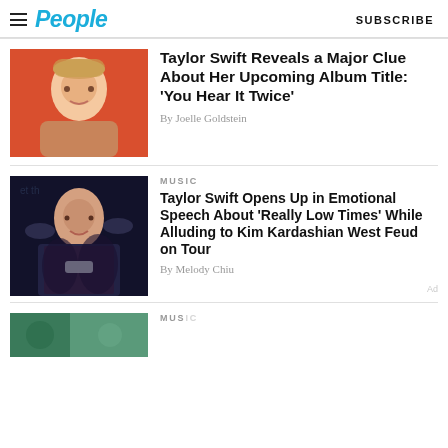People | SUBSCRIBE
[Figure (photo): Taylor Swift portrait against red/orange background]
Taylor Swift Reveals a Major Clue About Her Upcoming Album Title: 'You Hear It Twice'
By Joelle Goldstein
MUSIC
[Figure (photo): Taylor Swift performing on stage in black sparkly outfit]
Taylor Swift Opens Up in Emotional Speech About 'Really Low Times' While Alluding to Kim Kardashian West Feud on Tour
By Melody Chiu
[Figure (photo): Partial image of third article at bottom of page]